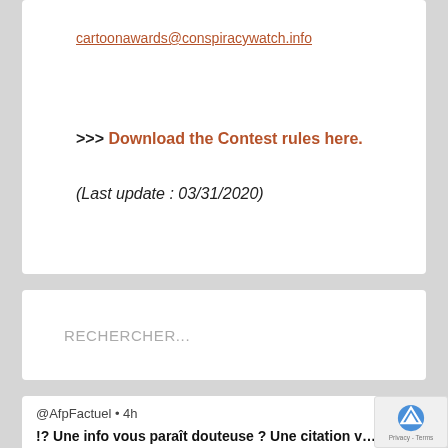cartoonawards@conspiracywatch.info
>>> Download the Contest rules here.
(Last update : 03/31/2020)
RECHERCHER...
@AfpFactuel • 4h
!? Une info vous paraît douteuse ? Une citation v… interpelle ? Une image vous semble retouchée ? … N'hésitez…